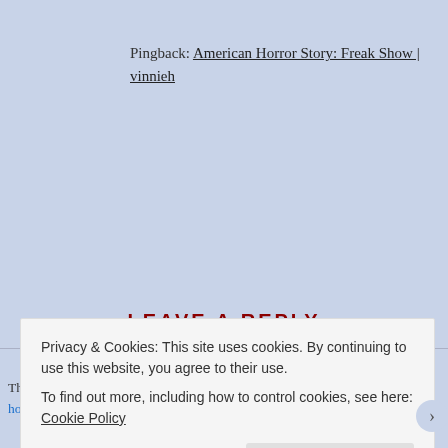Pingback: American Horror Story: Freak Show | vinnieh
LEAVE A REPLY
This site uses Akismet to reduce spam. Learn how your comment data is processed.
Your email address will not be published. Required fields are marked *
COMMENT *
Privacy & Cookies: This site uses cookies. By continuing to use this website, you agree to their use. To find out more, including how to control cookies, see here: Cookie Policy
Close and accept